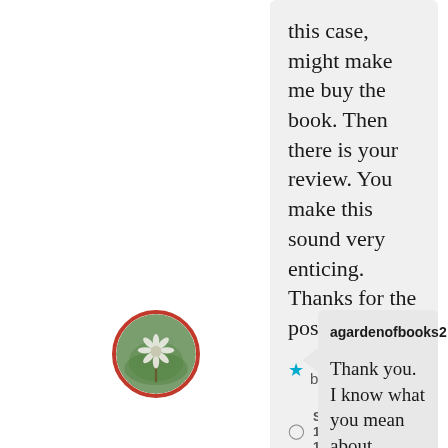this case, might make me buy the book. Then there is your review. You make this sound very enticing. Thanks for the post.
Liked by 1 person
SEPTEMBER 10, 2019 AT 10:36 PM
↳ REPLY
[Figure (photo): Circular avatar photo of a white flower/dandelion on blurred green background, bordered with red circle]
agardenofbooks2
Thank you. I know what you mean about buying